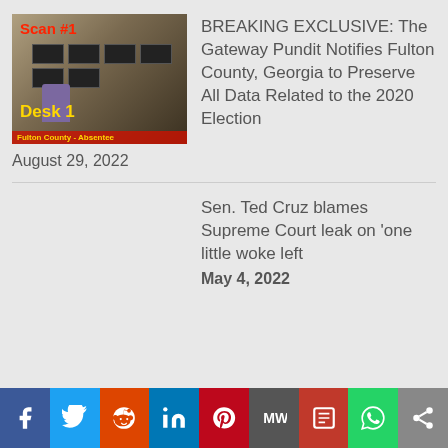[Figure (screenshot): Thumbnail image of ballot scanning at Fulton County with text 'Scan #1', 'Desk 1', and 'Fulton County - Absentee' overlay]
BREAKING EXCLUSIVE: The Gateway Pundit Notifies Fulton County, Georgia to Preserve All Data Related to the 2020 Election
August 29, 2022
Sen. Ted Cruz blames Supreme Court leak on 'one little woke left
May 4, 2022